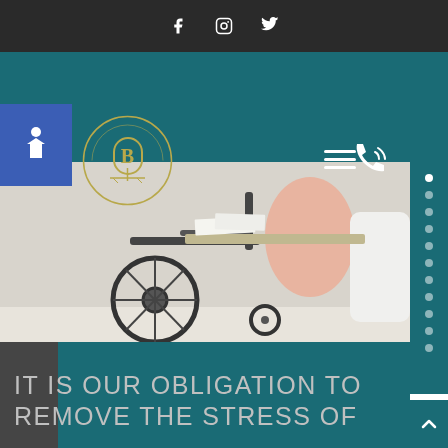Social media icons: Facebook, Instagram, Twitter
[Figure (screenshot): Law firm website screenshot showing navigation bar with accessibility icon, Bevermont law firm logo, hamburger menu, and phone icon on teal background]
[Figure (photo): Close-up photo of a wheelchair next to a person in a pink outfit seated in a white chair, suggesting a disability/legal context]
IT IS OUR OBLIGATION TO REMOVE THE STRESS OF